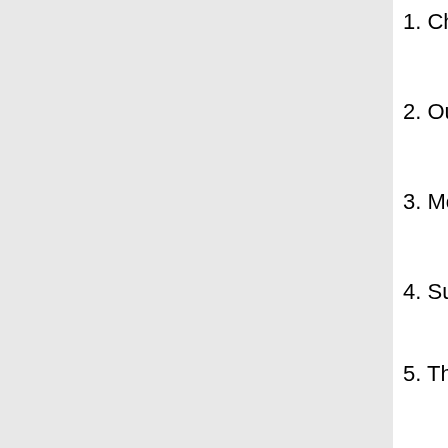1. Christians have always regarded... find cures for diseases and reme...
2. Our attitude toward death by 'ol... medical need today.
3. Modern science and medicine h... age', but have been unable to fi...
4. Superlongevity (i.e., average life... impossible to many scientists ac...
5. The Bible contains life span data... than they do today—that superlo...
Table 1: Selected Biblical l...
| name | born (B.C.) | age at death |
| --- | --- | --- |
| Adam | 5176 | 930 |